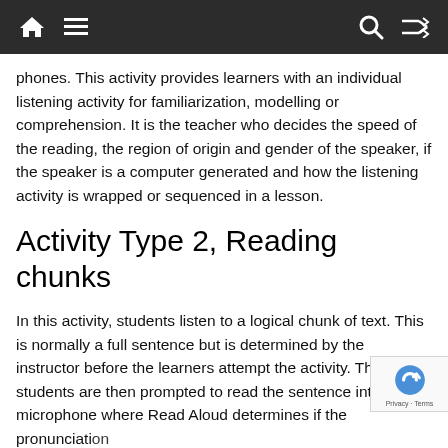Navigation bar with home, menu, search, and shuffle icons
phones. This activity provides learners with an individual listening activity for familiarization, modelling or comprehension. It is the teacher who decides the speed of the reading, the region of origin and gender of the speaker, if the speaker is a computer generated and how the listening activity is wrapped or sequenced in a lesson.
Activity Type 2, Reading chunks
In this activity, students listen to a logical chunk of text. This is normally a full sentence but is determined by the instructor before the learners attempt the activity. The students are then prompted to read the sentence into a microphone where Read Aloud determines if the pronunciation